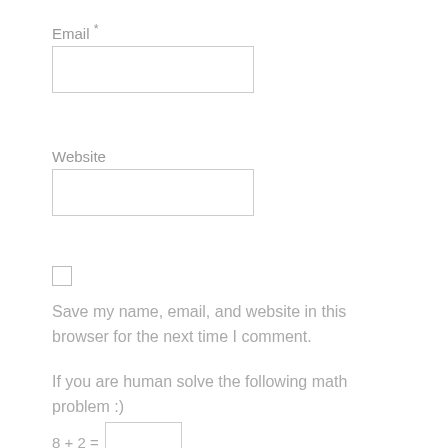Email *
[input field]
Website
[input field]
[checkbox]
Save my name, email, and website in this browser for the next time I comment.
If you are human solve the following math problem :)
8 + 2 = [input field]